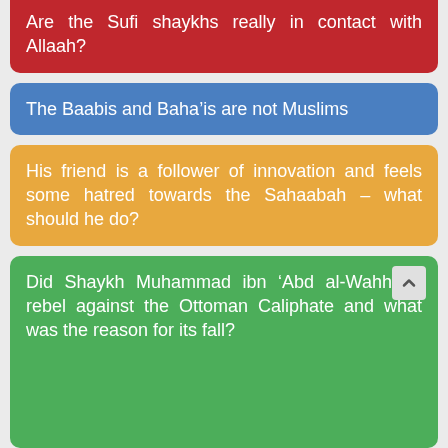Are the Sufi shaykhs really in contact with Allaah?
The Baabis and Baha'is are not Muslims
His friend is a follower of innovation and feels some hatred towards the Sahaabah – what should he do?
Did Shaykh Muhammad ibn 'Abd al-Wahhaab rebel against the Ottoman Caliphate and what was the reason for its fall?